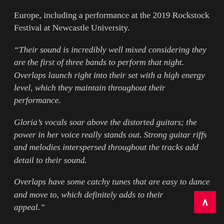Europe, including a performance at the 2019 Rockstock Festival at Newcastle University.
“Their sound is incredibly well mixed considering they are the first of three bands to perform that night. Overlaps launch right into their set with a high energy level, which they maintain throughout their performance.
Gloria’s vocals soar above the distorted guitars; the power in her voice really stands out. Strong guitar riffs and melodies interspersed throughout the tracks add detail to their sound.
Overlaps have some catchy tunes that are easy to dance and move to, which definitely adds to their appeal.”